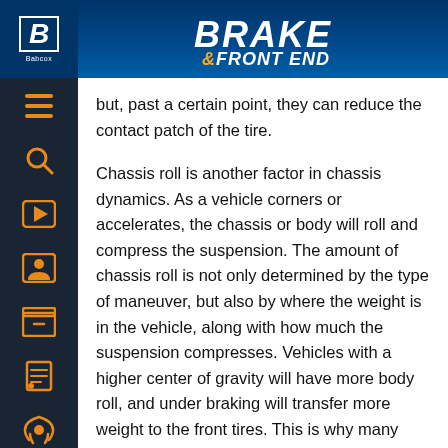BRAKE & FRONT END
but, past a certain point, they can reduce the contact patch of the tire.
Chassis roll is another factor in chassis dynamics. As a vehicle corners or accelerates, the chassis or body will roll and compress the suspension. The amount of chassis roll is not only determined by the type of maneuver, but also by where the weight is in the vehicle, along with how much the suspension compresses. Vehicles with a higher center of gravity will have more body roll, and under braking will transfer more weight to the front tires. This is why many exotic cars are using carbon fiber for the roof, hood and trunk lid. Body roll is bad because it changes the location of the suspension mounting points in reference to the road. This changes the camber and toe.